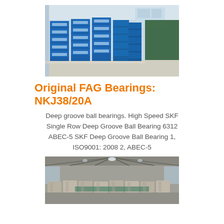[Figure (photo): Warehouse shelves stacked with blue boxed FAG bearings in a storage room with white walls and a window in the background.]
Original FAG Bearings: NKJ38/20A
Deep groove ball bearings. High Speed SKF Single Row Deep Groove Ball Bearing 6312 ABEC-5 SKF Deep Groove Ball Bearing 1, ISO9001: 2008 2, ABEC-5
[Figure (photo): Interior of a large warehouse or factory with industrial roof trusses, rows of bearings or machinery parts wrapped in protective covering on pallets.]